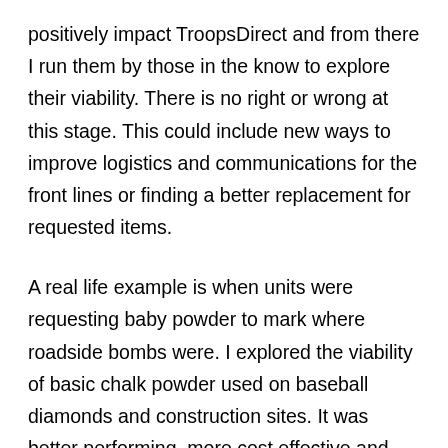positively impact TroopsDirect and from there I run them by those in the know to explore their viability. There is no right or wrong at this stage. This could include new ways to improve logistics and communications for the front lines or finding a better replacement for requested items.
A real life example is when units were requesting baby powder to mark where roadside bombs were. I explored the viability of basic chalk powder used on baseball diamonds and construction sites. It was better performing, more cost effective and easier to ship in bulk. Furthermore, it was favored by our men over the baby powder they had initially